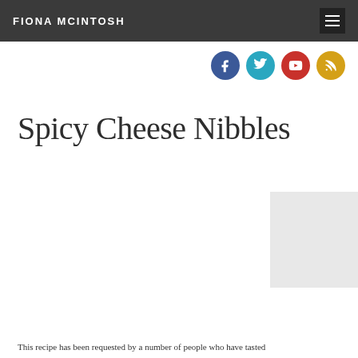FIONA McINTOSH
[Figure (other): Social media icons: Facebook (blue circle), Twitter (teal circle), YouTube (red circle), RSS (gold/orange circle)]
Spicy Cheese Nibbles
[Figure (photo): Partial image visible in bottom right corner]
This recipe has been requested by a number of people who have tasted